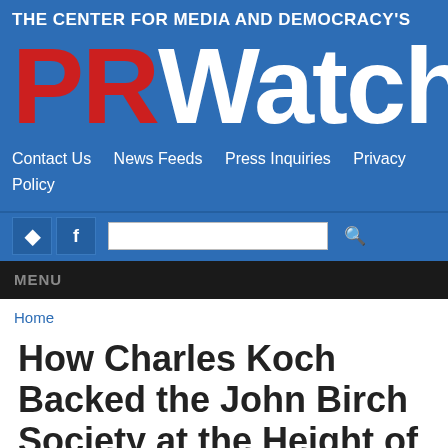The Center for Media and Democracy's PRWatch
Contact Us   News Feeds   Press Inquiries   Privacy Policy
MENU
Home
How Charles Koch Backed the John Birch Society at the Height of